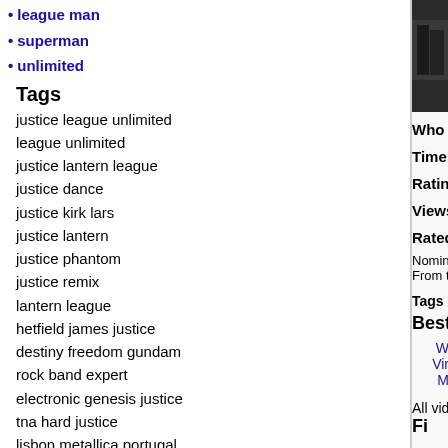league man
superman
unlimited
Tags
justice league unlimited
league unlimited
justice lantern league
justice dance
justice kirk lars
justice lantern
justice phantom
justice remix
lantern league
hetfield james justice
destiny freedom gundam
rock band expert
electronic genesis justice
tna hard justice
lisbon metallica portugal
drums expert game
flash green hawkgirl
freedom gundam justice
martian superman woman
league manhunter martian
gundam justice seed
james justice kirk
band expert drums
justice rock band
[Figure (photo): Black and white photo of two people]
Who  DowntownRec
Time  3 min
Rating 4.90/5
Views: 187896
Rated  447
Nominated
From the
Tags d.a.n.
Best site
W
Vir
M
All videos here are rated over 4
Fi